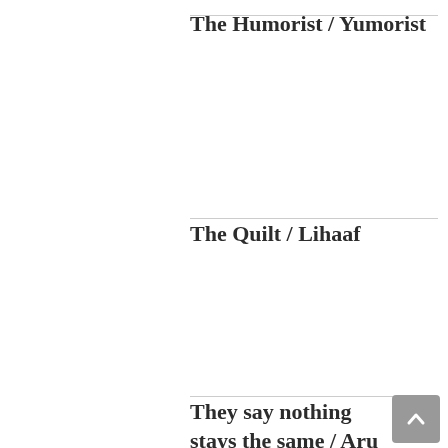The Humorist / Yumorist
The Quilt / Lihaaf
They say nothing stays the same / Aru sendo no